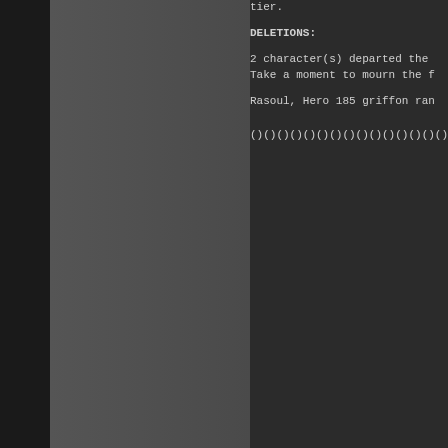tier.
DELETIONS:
2 character(s) departed the
Take a moment to mourn the f
Rasoul, Hero 185 griffon ran
()()()()()()()()()()()()()()
Doing Your Own Corpse Retrie
by Angel Galen
You died. It's going to happ
your corpse back. What to do
aggressive mobs  it's easy.
your corpse. What is recall
RECALL is a command that wil
destination.
HELP RECALL will give you mo
it, it's one of the most use
You just type: 'recall set'
make your new recall. This w
you die all you have to do i
the rest to your corpse. You
can do your own CR (corpse r
Remember that the gear you h